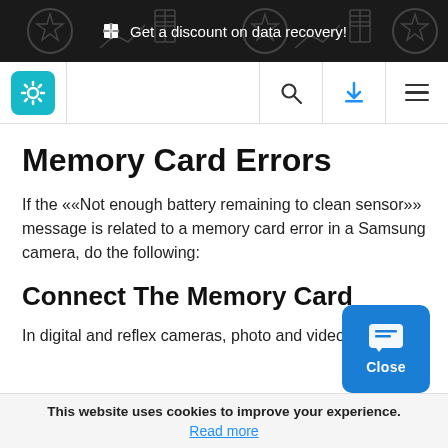Get a discount on data recovery!
[Figure (logo): Website logo with gear/settings icon in teal square, search icon, download icon, and hamburger menu]
Memory Card Errors
If the ««Not enough battery remaining to clean sensor»» message is related to a memory card error in a Samsung camera, do the following:
Connect The Memory Card
In digital and reflex cameras, photo and video f...e
This website uses cookies to improve your experience. Read more